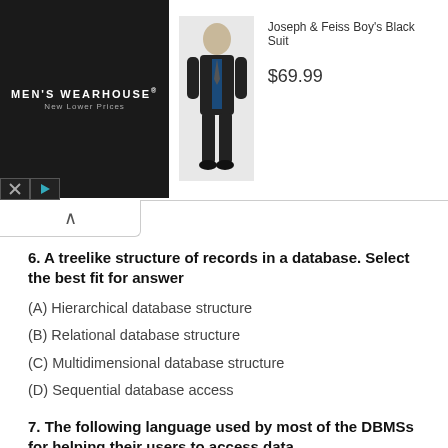[Figure (screenshot): Men's Wearhouse advertisement showing a boy's black suit (Joseph & Feiss Boy's Black Suit, $69.99) with product image and logo on dark background]
6. A treelike structure of records in a database. Select the best fit for answer
(A) Hierarchical database structure
(B) Relational database structure
(C) Multidimensional database structure
(D) Sequential database access
7. The following language used by most of the DBMSs for helping their users to access data
(A) High level language
(B) Query language